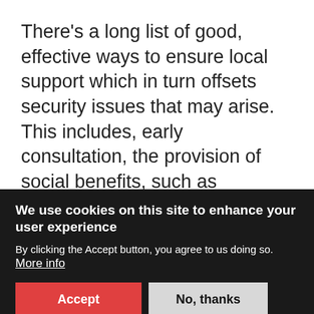There's a long list of good, effective ways to ensure local support which in turn offsets security issues that may arise. This includes, early consultation, the provision of social benefits, such as employing local people on the project, compensating people for their land, (or minimising valuable land take in the first place) regular consultation, establishing local development funds and provisioning water, power, healthcare and education
We use cookies on this site to enhance your user experience
By clicking the Accept button, you agree to us doing so. More info
Accept
No, thanks